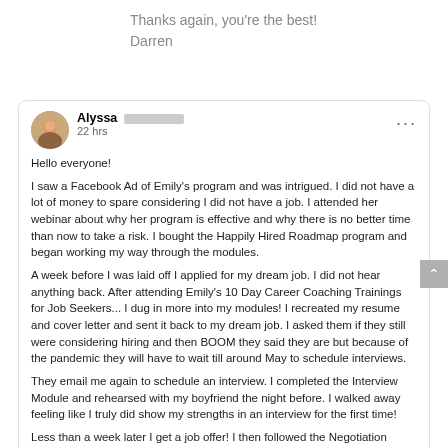Thanks again, you're the best!
Darren
Alyssa [redacted]
22 hrs
Hello everyone!
I saw a Facebook Ad of Emily's program and was intrigued. I did not have a lot of money to spare considering I did not have a job. I attended her webinar about why her program is effective and why there is no better time than now to take a risk. I bought the Happily Hired Roadmap program and began working my way through the modules.
A week before I was laid off I applied for my dream job. I did not hear anything back. After attending Emily's 10 Day Career Coaching Trainings for Job Seekers... I dug in more into my modules! I recreated my resume and cover letter and sent it back to my dream job. I asked them if they still were considering hiring and then BOOM they said they are but because of the pandemic they will have to wait till around May to schedule interviews.
They email me again to schedule an interview. I completed the Interview Module and rehearsed with my boyfriend the night before. I walked away feeling like I truly did show my strengths in an interview for the first time!
Less than a week later I get a job offer! I then followed the Negotiation Module and negotiated my base salary (which is super scary but the worst they can say is no). They accepted!!!
Moral of the story...
I do not have years of experience (I graduated in Spring 2019 with my bachelors)